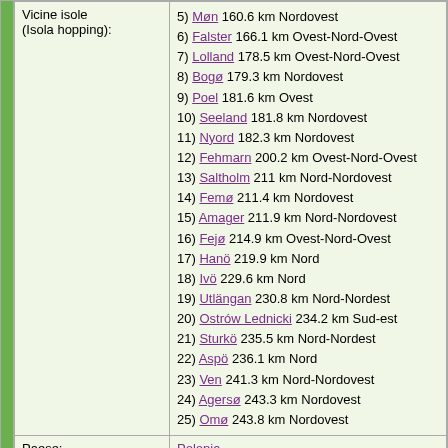| Vicine isole (Isola hopping): | 5) Møn 160.6 km Nordovest
6) Falster 166.1 km Ovest-Nord-Ovest
7) Lolland 178.5 km Ovest-Nord-Ovest
8) Bogø 179.3 km Nordovest
9) Poel 181.6 km Ovest
10) Seeland 181.8 km Nordovest
11) Nyord 182.3 km Nordovest
12) Fehmarn 200.2 km Ovest-Nord-Ovest
13) Saltholm 211 km Nord-Nordovest
14) Femø 211.4 km Nordovest
15) Amager 211.9 km Nord-Nordovest
16) Fejø 214.9 km Ovest-Nord-Ovest
17) Hanö 219.9 km Nord
18) Ivö 229.6 km Nord
19) Utlängan 230.8 km Nord-Nordest
20) Ostrów Lednicki 234.2 km Sud-est
21) Sturkö 235.5 km Nord-Nordest
22) Aspö 236.1 km Nord
23) Ven 241.3 km Nord-Nordovest
24) Agersø 243.3 km Nordovest
25) Omø 243.8 km Nordovest |
| Paese: | Polonia |
| Posizione del Paese: | Ovest-Nord-Ovest |
| Nome województwo: | Voivodato della Pomerania Occidentale |